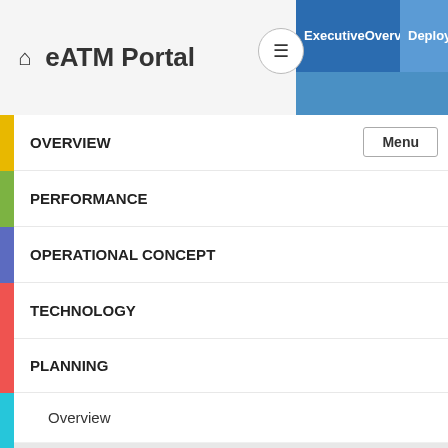eATM Portal | Executive Overview / Deployment Scenarios
OVERVIEW
PERFORMANCE
OPERATIONAL CONCEPT
TECHNOLOGY
PLANNING
Overview
Deployment Scenarios DS
Stakeholder Roadmaps
ICAO Blocks
MONITORING
Menu
Executive Overview / Deployment Scenarios
Alternative position, navi
Deployment Scena
Last data refresh: 04-09-2022 / Portal version: 1.0.85.4.4170 (LDB)